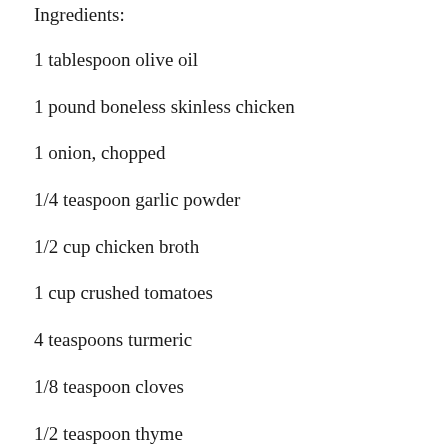Ingredients:
1 tablespoon olive oil
1 pound boneless skinless chicken
1 onion, chopped
1/4 teaspoon garlic powder
1/2 cup chicken broth
1 cup crushed tomatoes
4 teaspoons turmeric
1/8 teaspoon cloves
1/2 teaspoon thyme
1/4 teaspoon sea salt